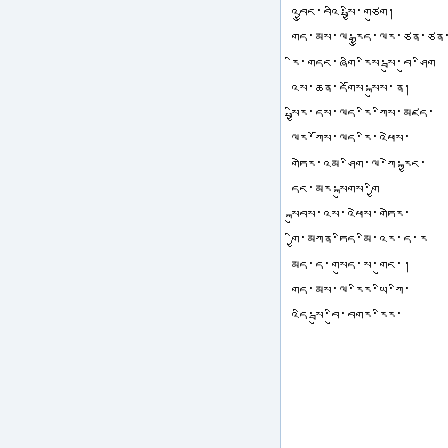འབྱུང་བའི་སྤྱི་གཙུག
གད་མས་ལ་རྒྱུད་ལར་ཙན་
རི་གདང་ཞགི་རིས་སྦུ་བུ་ཤིག
འས་ཆན་དགོས་སྐུས་ན།
སྤྱིར་དས་ལད་རི་ཀིས་མཛད་
ལར་ཀོས་ལད་རི་འཕེས་
གཏེར་འམ་ཤིག་ལ་ཀེ་རྐྱང་
དང་མར་སྐུགས་གྱི
སྐུབས་འས་འཕེས་གཏེར་
གྱི་མཀན་ཏིད་མི་འར་ད་ར
མད་ད་གསུད་ས་གུང་།
གད་མས་ལ་རིར་ཡི་ཀི་
འདི་སྦུ་བིུ་བགར་རིར་